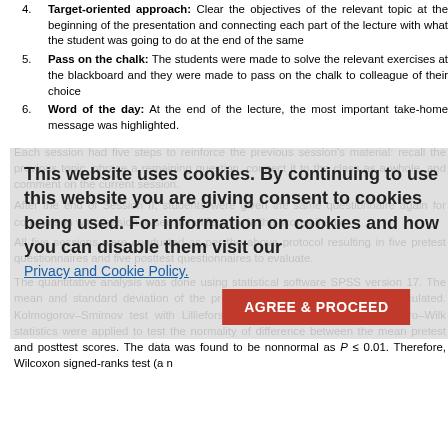4. Target-oriented approach: Clear the objectives of the relevant topic at the beginning of the presentation and connecting each part of the lecture with what the student was going to do at the end of the same
5. Pass on the chalk: The students were made to solve the relevant exercises at the blackboard and they were made to pass on the chalk to colleague of their choice
6. Word of the day: At the end of the lecture, the most important take-home message was highlighted.
Each session had five steps to reinforce the previous session's material: recall the previous topic, phrase a remaining question, connect it to the class as a whole, and comment on the current session.
After the end of Session II, students were given the same questionnaire again for comparison with session to see the difference in the scores if any.
All five sessions were conducted as per the above protocol resulting in five pretest questionnaires and five posttest questionnaires to evaluate.
The quantitative analysis was done using statistical software SPSS version 17. The mean and standard deviation of the pretest scores were calculated. Kolmogorov–Smirnov test with Lilliefors significance correction and Shapiro–Wilk statistics were applied to test the normality of difference between the mean pretest and posttest scores. The data was found to be nonnormal as P ≤ 0.01. Therefore, Wilcoxon signed-ranks test (a nonparametric